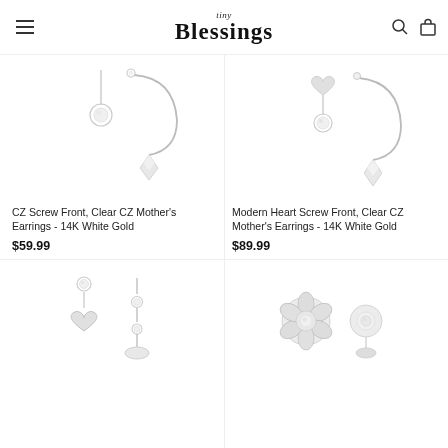tiny Blessings
[Figure (photo): CZ Screw Front earrings in 14K white gold with clear CZ stones and hoop design]
CZ Screw Front, Clear CZ Mother's Earrings - 14K White Gold
$59.99
[Figure (photo): Modern Heart Screw Front earrings in 14K white gold with clear CZ stones and heart hoop design]
Modern Heart Screw Front, Clear CZ Mother's Earrings - 14K White Gold
$89.99
[Figure (photo): Heart dangle and CZ dangle earrings in 14K white gold]
[Figure (photo): Rose flower stud earrings in 14K white gold with CZ center]